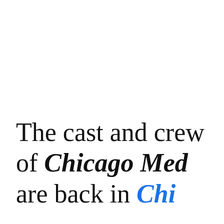The cast and crew of Chicago Med are back in Chi...